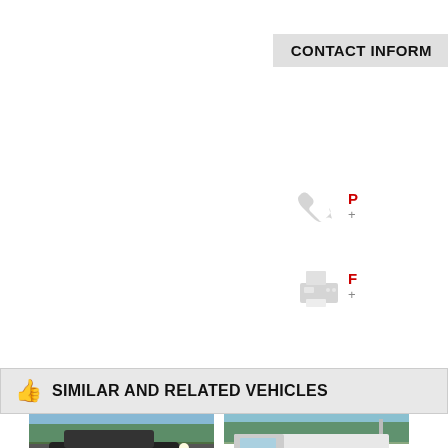CONTACT INFORM...
[Figure (infographic): Gray phone handset icon]
P
+
[Figure (infographic): Gray fax/printer icon]
F
+
👍 SIMILAR AND RELATED VEHICLES
[Figure (photo): Car photo - left vehicle image at bottom]
[Figure (photo): Car photo - right vehicle image at bottom]